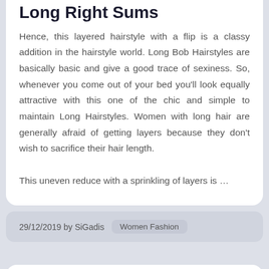Long Right Sums
Hence, this layered hairstyle with a flip is a classy addition in the hairstyle world. Long Bob Hairstyles are basically basic and give a good trace of sexiness. So, whenever you come out of your bed you'll look equally attractive with this one of the chic and simple to maintain Long Hairstyles. Women with long hair are generally afraid of getting layers because they don't wish to sacrifice their hair length.

This uneven reduce with a sprinkling of layers is ...
29/12/2019 by SiGadis   Women Fashion
Men's   Accessories,   Hats,